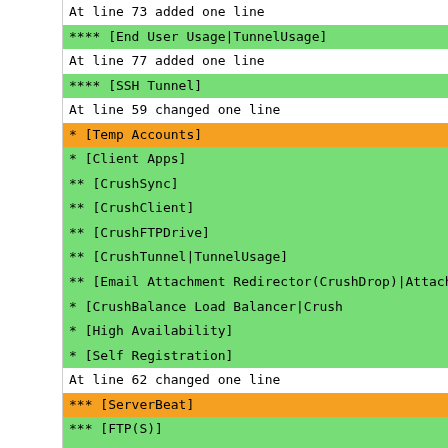At line 73 added one line
**** [End User Usage|TunnelUsage]
At line 77 added one line
**** [SSH Tunnel]
At line 59 changed one line
* [Temp Accounts]
* [Client Apps]
** [CrushSync]
** [CrushClient]
** [CrushFTPDrive]
** [CrushTunnel|TunnelUsage]
** [Email Attachment Redirector(CrushDrop)|AttachmentRed
* [CrushBalance Load Balancer|Crush
* [High Availability]
* [Self Registration]
At line 62 changed one line
*** [ServerBeat]
*** [FTP(S)]
*** [SFTP/SCP|SFTP]
**** [SFTP with ECDSA Support]
*** [HTTP(S)]
*** [Virtual IP (ServerBeat)|Server